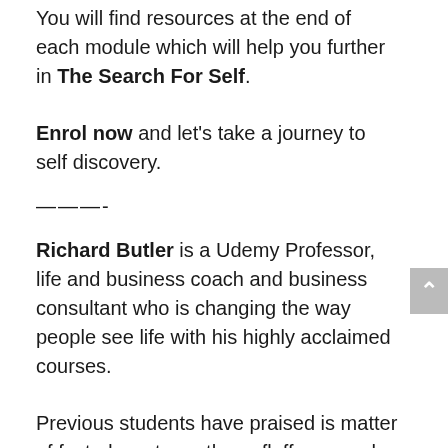You will find resources at the end of each module which will help you further in The Search For Self.
Enrol now and let's take a journey to self discovery.
———-
Richard Butler is a Udemy Professor, life and business coach and business consultant who is changing the way people see life with his highly acclaimed courses.
Previous students have praised is matter of fact, down to earth, no fluff approach to topics within